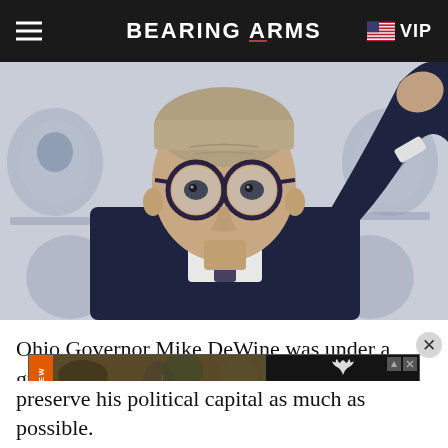BEARING ARMS | VIP
[Figure (photo): Ohio Governor Mike DeWine gesturing with raised hand at a press conference, wearing dark suit and round glasses, in front of a backdrop with logos]
Ohio Governor Mike DeWine was under a great deal of pressure to present a plan in response to the deadly mass shooting in Dayton. However, he also knew he
[Figure (other): Advertisement banner for Realtree MAX-1 camouflage pattern, showing outdoor field background with Realtree logo and MAX-1 text, ALL-NEW label on side]
preserve his political capital as much as possible.